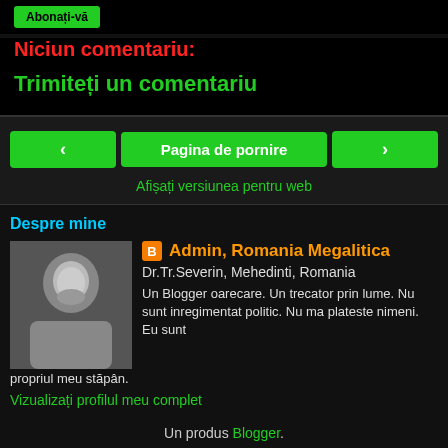Abonați-vă
Niciun comentariu:
Trimiteți un comentariu
‹  Pagina de pornire  ›
Afișați versiunea pentru web
Despre mine
Admin, Romania Megalitica
Dr.Tr.Severin, Mehedinti, Romania
Un Blogger oarecare. Un trecator prin lume. Nu sunt inregimentat politic. Nu ma plateste nimeni. Eu sunt propriul meu stăpân.
Vizualizați profilul meu complet
Un produs Blogger.